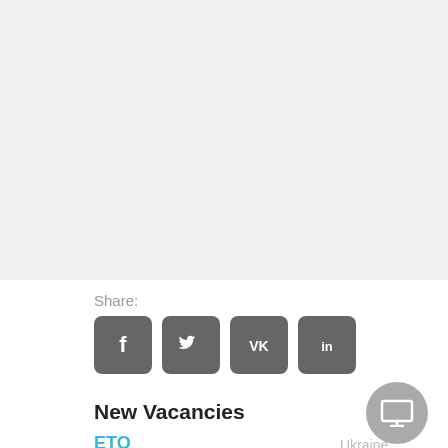Share:
[Figure (other): Social media share buttons: Facebook, Twitter, VK, LinkedIn — grey rounded square icons]
New Vacancies
ETO
Ukraine
Wage:
$ 250 per day
Vessel Type: